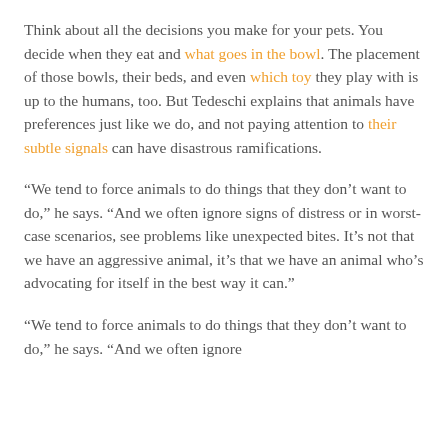Think about all the decisions you make for your pets. You decide when they eat and what goes in the bowl. The placement of those bowls, their beds, and even which toy they play with is up to the humans, too. But Tedeschi explains that animals have preferences just like we do, and not paying attention to their subtle signals can have disastrous ramifications.
“We tend to force animals to do things that they don’t want to do,” he says. “And we often ignore signs of distress or in worst-case scenarios, see problems like unexpected bites. It’s not that we have an aggressive animal, it’s that we have an animal who’s advocating for itself in the best way it can.”
“We tend to force animals to do things that they don’t want to do,” he says. “And we often ignore